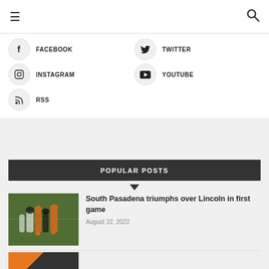≡  🔍
FACEBOOK
TWITTER
INSTAGRAM
YOUTUBE
RSS
POPULAR POSTS
[Figure (photo): Football players on field, South Pasadena vs Lincoln game]
South Pasadena triumphs over Lincoln in first game
August 22, 2022